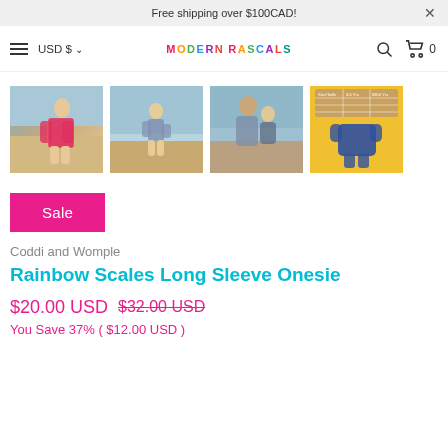Free shipping over $100CAD!
USD $ ▾  MODERN RASCALS  🔍  🛒 0
[Figure (photo): Four product thumbnail photos: child in colorful long-sleeve swimsuit on beach, child running on beach in matching set, woman holding toddler on beach, product flat-lay on yellow background with size chart]
Sale
Coddi and Womple
Rainbow Scales Long Sleeve Onesie
$20.00 USD $32.00 USD
You Save 37% ( $12.00 USD )